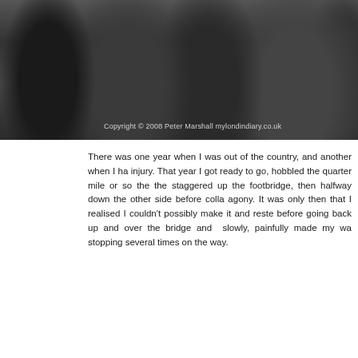[Figure (photo): Black and white photograph of a crowd of people, close-up waist/torso level, with a copyright watermark reading 'Copyright 2008 Peter Marshall mylondondiary.co.uk']
There was one year when I was out of the country, and another when I ha injury. That year I got ready to go, hobbled the quarter mile or so the the staggered up the footbridge, then halfway down the other side before colla agony. It was only then that I realised I couldn't possibly make it and reste before going back up and over the bridge and  slowly, painfully made my wa stopping several times on the way.
[Figure (photo): Black and white photograph of a music event. On the left a large speaker stack. In the center a young man singing/rapping into a microphone. Behind him several people standing, and a banner reading 'IVORY KEYS'. On the right a DJ at equipment.]